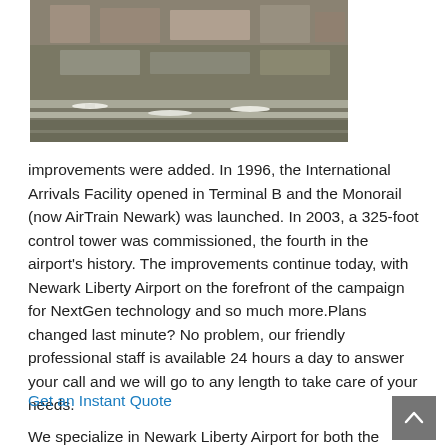[Figure (photo): Aerial photograph of an airport showing terminals, runways, and parked aircraft at Newark Liberty Airport]
improvements were added. In 1996, the International Arrivals Facility opened in Terminal B and the Monorail (now AirTrain Newark) was launched. In 2003, a 325-foot control tower was commissioned, the fourth in the airport's history. The improvements continue today, with Newark Liberty Airport on the forefront of the campaign for NextGen technology and so much more.Plans changed last minute? No problem, our friendly professional staff is available 24 hours a day to answer your call and we will go to any length to take care of your needs.
Get an Instant Quote
We specialize in Newark Liberty Airport for both the